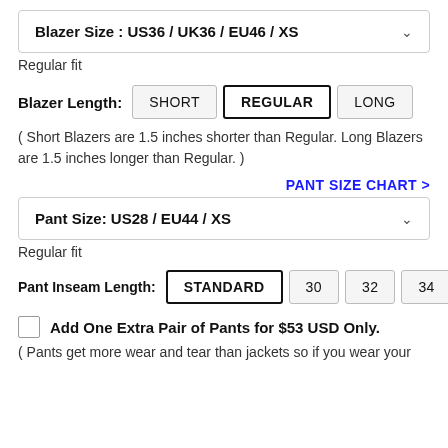Blazer Size : US36 / UK36 / EU46 / XS
Regular fit
Blazer Length: SHORT | REGULAR | LONG
( Short Blazers are 1.5 inches shorter than Regular. Long Blazers are 1.5 inches longer than Regular. )
PANT SIZE CHART >
Pant Size: US28 / EU44 / XS
Regular fit
Pant Inseam Length: STANDARD | 30 | 32 | 34
Add One Extra Pair of Pants for $53 USD Only.
( Pants get more wear and tear than jackets so if you wear your